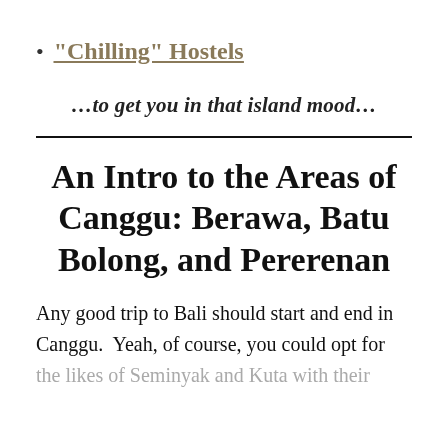“Chilling” Hostels
…to get you in that island mood…
An Intro to the Areas of Canggu: Berawa, Batu Bolong, and Pererenan
Any good trip to Bali should start and end in Canggu. Yeah, of course, you could opt for the likes of Seminyak and Kuta with their